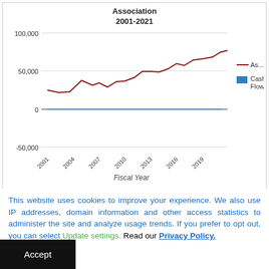[Figure (line-chart): Association 2001-2021]
This website uses cookies to improve your experience. We also use IP addresses, domain information and other access statistics to administer the site and analyze usage trends. If you prefer to opt out, you can select Update settings. Read our Privacy Policy.